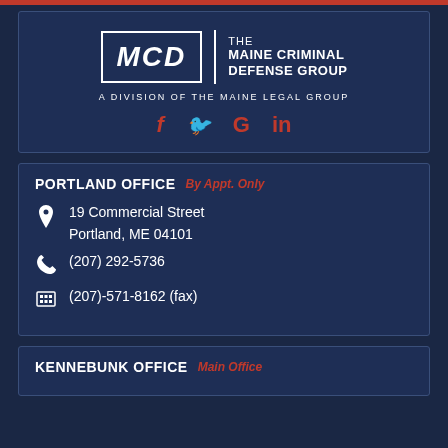[Figure (logo): MCD - The Maine Criminal Defense Group logo with social media icons (Facebook, Twitter, Google, LinkedIn). Text: 'A DIVISION OF THE MAINE LEGAL GROUP']
PORTLAND OFFICE  By Appt. Only
19 Commercial Street
Portland, ME 04101
(207) 292-5736
(207)-571-8162 (fax)
KENNEBUNK OFFICE  Main Office